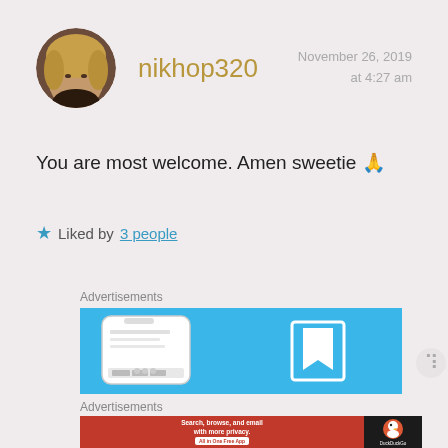[Figure (photo): Circular avatar photo of a blonde woman]
nikhop320
November 26, 2019 at 4:27 am
You are most welcome. Amen sweetie 🙏
★ Liked by 3 people
Advertisements
[Figure (screenshot): DuckDuckGo ad banner top - blue background with phone and bookmark icon]
Advertisements
[Figure (screenshot): DuckDuckGo ad: Search, browse, and email with more privacy. All in One Free App]